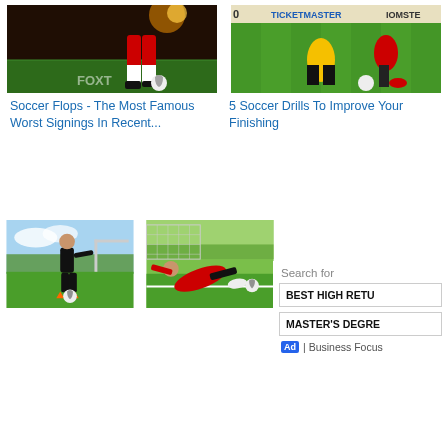[Figure (photo): Soccer players on field at night, one kicking a ball, stadium lights in background]
[Figure (photo): Soccer player in yellow jersey being tackled on green field, advertising boards visible]
Soccer Flops - The Most Famous Worst Signings In Recent...
5 Soccer Drills To Improve Your Finishing
[Figure (photo): Soccer player in black outfit dribbling ball on outdoor field]
[Figure (photo): Goalkeeper in red jersey diving to save ball near goal post on grass field]
Search for
BEST HIGH RETU
MASTER'S DEGRE
Ad | Business Focus